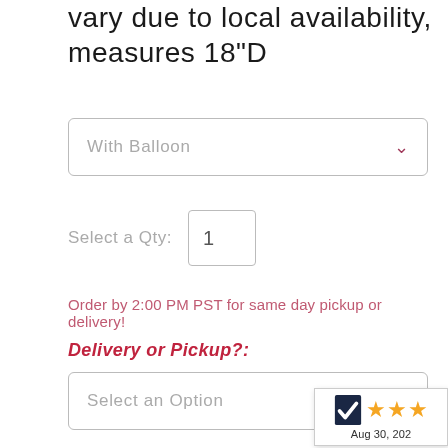vary due to local availability, measures 18"D
With Balloon
Select a Qty:  1
Order by 2:00 PM PST for same day pickup or delivery!
Delivery or Pickup?:
Select an Option
Enter First Name
Enter Last Name
[Figure (other): Shopper Approved rating badge showing 3 orange stars and date Aug 30, 20xx]